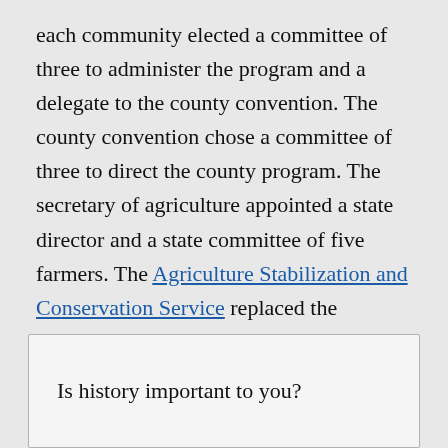each community elected a committee of three to administer the program and a delegate to the county convention. The county convention chose a committee of three to direct the county program. The secretary of agriculture appointed a state director and a state committee of five farmers. The Agriculture Stabilization and Conservation Service replaced the Agricultural Adjustment Administration in 1945 when the AAA was absorbed by the Production and Marketing Administration of the United States Department of Agriculture.
Is history important to you?